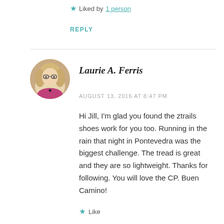Liked by 1 person
REPLY
Laurie A. Ferris
AUGUST 13, 2016 AT 8:47 PM
Hi Jill, I'm glad you found the ztrails shoes work for you too. Running in the rain that night in Pontevedra was the biggest challenge. The tread is great and they are so lightweight. Thanks for following. You will love the CP. Buen Camino!
Like